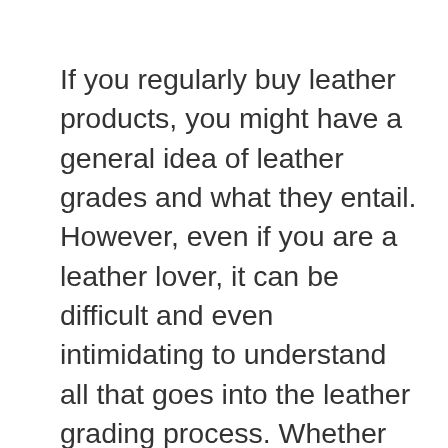If you regularly buy leather products, you might have a general idea of leather grades and what they entail. However, even if you are a leather lover, it can be difficult and even intimidating to understand all that goes into the leather grading process. Whether you're on the hunt for the perfect wallet or a reliable. durable belt. the leather